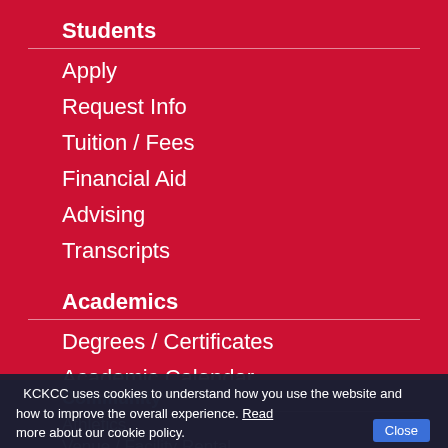Students
Apply
Request Info
Tuition / Fees
Financial Aid
Advising
Transcripts
Academics
Degrees / Certificates
Academic Calendar
Catalog
Finals
Academic Resources
Bookstore
Community
Athletics
Venue / Facility Rental
KCKCC uses cookies to understand how you use the website and how to improve the overall experience. Read more about our cookie policy. Close